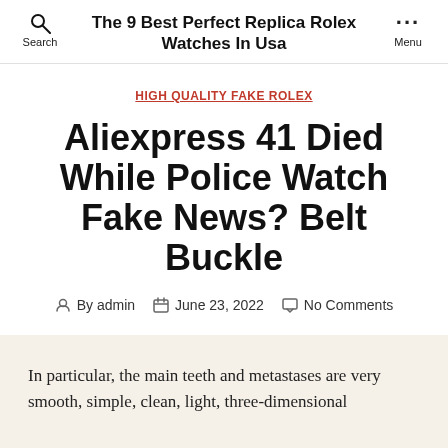The 9 Best Perfect Replica Rolex Watches In Usa
HIGH QUALITY FAKE ROLEX
Aliexpress 41 Died While Police Watch Fake News? Belt Buckle
By admin   June 23, 2022   No Comments
In particular, the main teeth and metastases are very smooth, simple, clean, light, three-dimensional